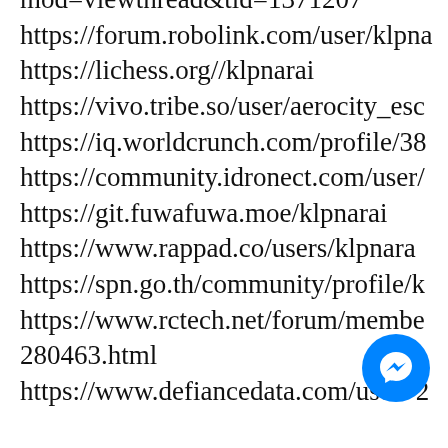mod=viewthread&tid=1371207
https://forum.robolink.com/user/klpna
https://lichess.org//klpnarai
https://vivo.tribe.so/user/aerocity_esc
https://iq.worldcrunch.com/profile/38
https://community.idronect.com/user/
https://git.fuwafuwa.moe/klpnarai
https://www.rappad.co/users/klpnara
https://spn.go.th/community/profile/k
https://www.rctech.net/forum/membe
280463.html
https://www.defiancedata.com/user=2